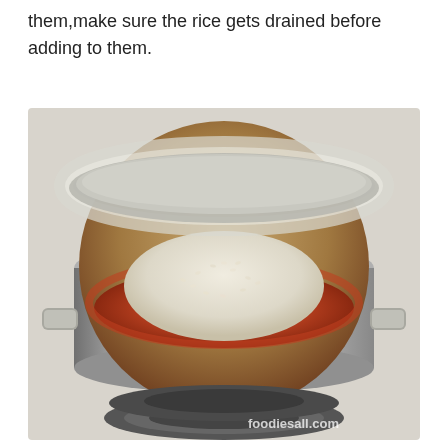them,make sure the rice gets drained before adding to them.
[Figure (photo): A large silver pressure cooker pot viewed from above, sitting on a stovetop burner. Inside the pot is a mound of white drained rice placed on top of a reddish-orange sauce or stew with visible pieces of tomato and other ingredients. The pot has side handles. A watermark 'foodiesall.com' is visible in the lower right area of the image.]